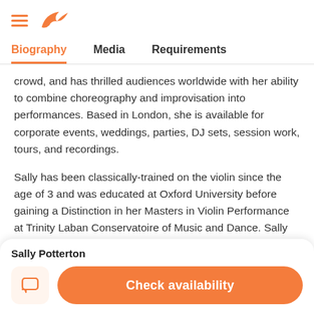[hamburger menu icon] [bird logo]
Biography | Media | Requirements
crowd, and has thrilled audiences worldwide with her ability to combine choreography and improvisation into performances. Based in London, she is available for corporate events, weddings, parties, DJ sets, session work, tours, and recordings.

Sally has been classically-trained on the violin since the age of 3 and was educated at Oxford University before gaining a Distinction in her Masters in Violin Performance at Trinity Laban Conservatoire of Music and Dance. Sally
Sally Potterton
Check availability